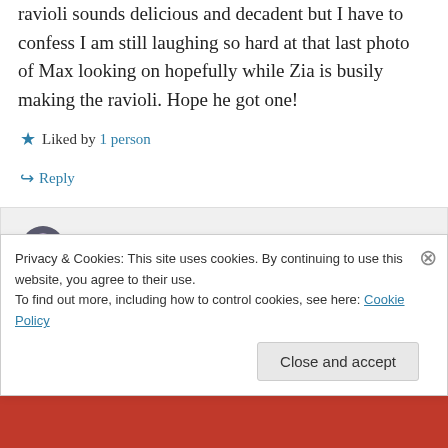ravioli sounds delicious and decadent but I have to confess I am still laughing so hard at that last photo of Max looking on hopefully while Zia is busily making the ravioli. Hope he got one!
★ Liked by 1 person
↪ Reply
ChgoJohn on October 8, 2014 at 9:57 am
Got one? That photo is from a few years
Privacy & Cookies: This site uses cookies. By continuing to use this website, you agree to their use.
To find out more, including how to control cookies, see here: Cookie Policy
Close and accept